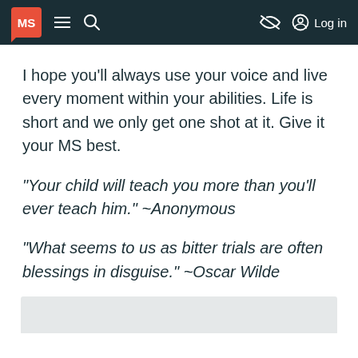MS [logo] | menu | search | [eye-slash icon] | Log in
I hope you’ll always use your voice and live every moment within your abilities. Life is short and we only get one shot at it. Give it your MS best.
“Your child will teach you more than you’ll ever teach him.” ~Anonymous
“What seems to us as bitter trials are often blessings in disguise.” ~Oscar Wilde